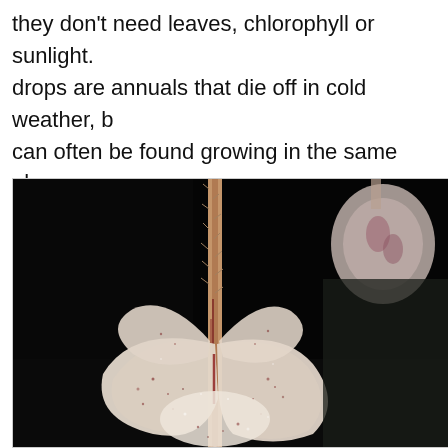they don't need leaves, chlorophyll or sunlight. drops are annuals that die off in cold weather, b can often be found growing in the same place e
[Figure (photo): Close-up macro photograph of a pale whitish-cream colored flower with translucent petals showing small red/maroon speckles, with a hairy stem running vertically through the center. A second blurry bud is visible in the upper right corner. Dark black background.]